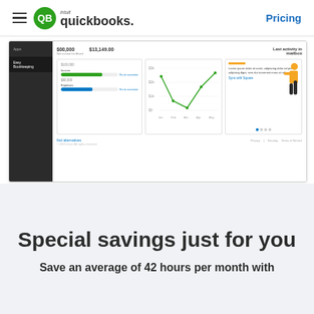intuit quickbooks — Pricing
[Figure (screenshot): QuickBooks Online dashboard screenshot showing bookkeeping overview with income/expense progress bars and a line chart, embedded in a browser-like frame with dark sidebar navigation]
Special savings just for you
Save an average of 42 hours per month with QuickBooks.